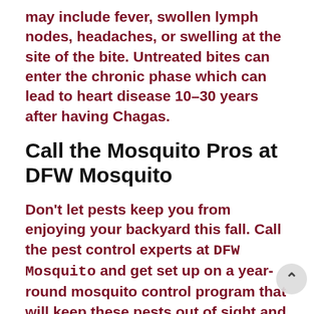may include fever, swollen lymph nodes, headaches, or swelling at the site of the bite. Untreated bites can enter the chronic phase which can lead to heart disease 10–30 years after having Chagas.
Call the Mosquito Pros at DFW Mosquito
Don't let pests keep you from enjoying your backyard this fall. Call the pest control experts at DFW Mosquito and get set up on a year-round mosquito control program that will keep these pests out of sight and out of mind.
Are you hosting a special event such as a graduation, wedding, birthday, or holiday and don't want your